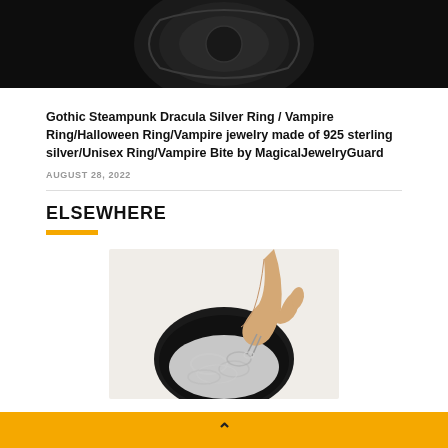[Figure (photo): Dark background product photo showing a silver ring, partially cropped at top]
Gothic Steampunk Dracula Silver Ring / Vampire Ring/Halloween Ring/Vampire jewelry made of 925 sterling silver/Unisex Ring/Vampire Bite by MagicalJewelryGuard
AUGUST 28, 2022
ELSEWHERE
[Figure (photo): Hand picking up a small clear rubber band from a black bowl filled with many small transparent rubber bands]
▲